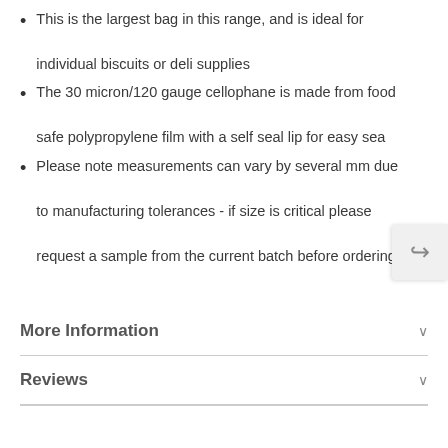This is the largest bag in this range, and is ideal for individual biscuits or deli supplies
The 30 micron/120 gauge cellophane is made from food safe polypropylene film with a self seal lip for easy sea
Please note measurements can vary by several mm due to manufacturing tolerances - if size is critical please request a sample from the current batch before ordering
More Information
Reviews